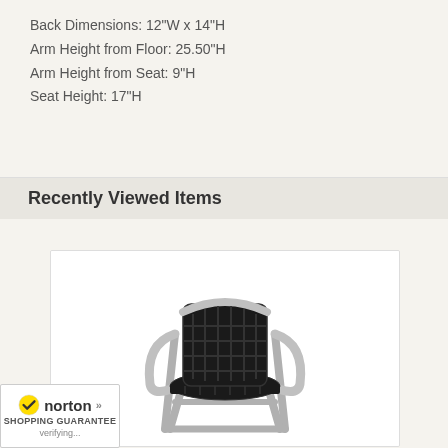Back Dimensions: 12"W x 14"H
Arm Height from Floor: 25.50"H
Arm Height from Seat: 9"H
Seat Height: 17"H
Recently Viewed Items
[Figure (photo): Black wicker and aluminum frame stacking patio chair with curved armrests, viewed from a slight angle showing the seat and back.]